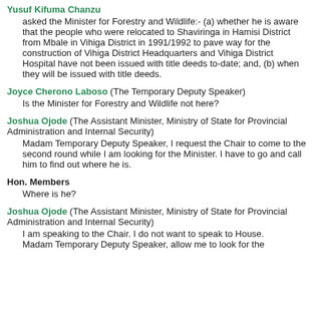Yusuf Kifuma Chanzu asked the Minister for Forestry and Wildlife:- (a) whether he is aware that the people who were relocated to Shaviringa in Hamisi District from Mbale in Vihiga District in 1991/1992 to pave way for the construction of Vihiga District Headquarters and Vihiga District Hospital have not been issued with title deeds to-date; and, (b) when they will be issued with title deeds.
Joyce Cherono Laboso (The Temporary Deputy Speaker) Is the Minister for Forestry and Wildlife not here?
Joshua Ojode (The Assistant Minister, Ministry of State for Provincial Administration and Internal Security) Madam Temporary Deputy Speaker, I request the Chair to come to the second round while I am looking for the Minister. I have to go and call him to find out where he is.
Hon. Members Where is he?
Joshua Ojode (The Assistant Minister, Ministry of State for Provincial Administration and Internal Security) I am speaking to the Chair. I do not want to speak to House. Madam Temporary Deputy Speaker, allow me to look for the